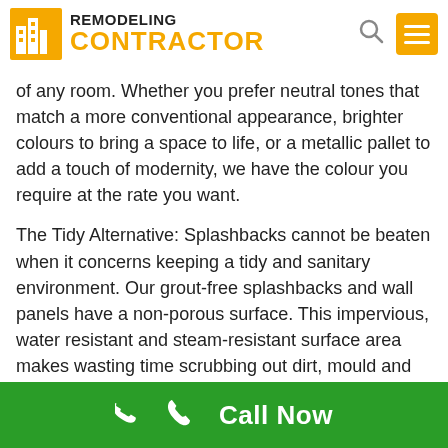REMODELING CONTRACTOR
of any room. Whether you prefer neutral tones that match a more conventional appearance, brighter colours to bring a space to life, or a metallic pallet to add a touch of modernity, we have the colour you require at the rate you want.
The Tidy Alternative: Splashbacks cannot be beaten when it concerns keeping a tidy and sanitary environment. Our grout-free splashbacks and wall panels have a non-porous surface. This impervious, water resistant and steam-resistant surface area makes wasting time scrubbing out dirt, mould and grime a thing of the past.
A 7 year manufacturer’s warranty: We are so confident
Call Now